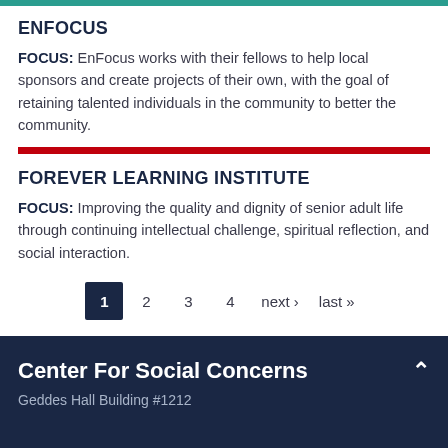ENFOCUS
FOCUS: EnFocus works with their fellows to help local sponsors and create projects of their own, with the goal of retaining talented individuals in the community to better the community.
FOREVER LEARNING INSTITUTE
FOCUS: Improving the quality and dignity of senior adult life through continuing intellectual challenge, spiritual reflection, and social interaction.
1  2  3  4  next ›  last »
Center For Social Concerns
Geddes Hall Building #1212